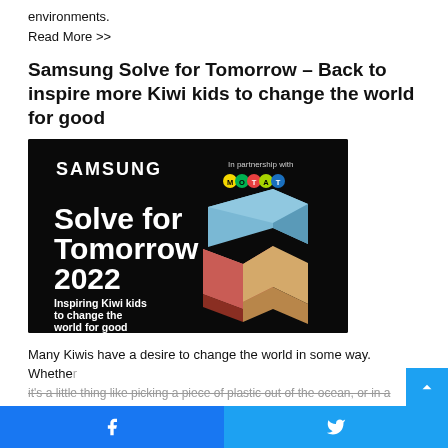environments.
Read More >>
Samsung Solve for Tomorrow – Back to inspire more Kiwi kids to change the world for good
[Figure (photo): Samsung Solve for Tomorrow 2022 promotional banner on black background. Text reads: SAMSUNG, In partnership with MOTAT, Solve for Tomorrow 2022, Inspiring Kiwi kids to change the world for good. 3D colorful block puzzle on right side.]
Many Kiwis have a desire to change the world in some way. Whether it's a little thing like picking a piece of plastic out of the ocean, or in a
Facebook  Twitter